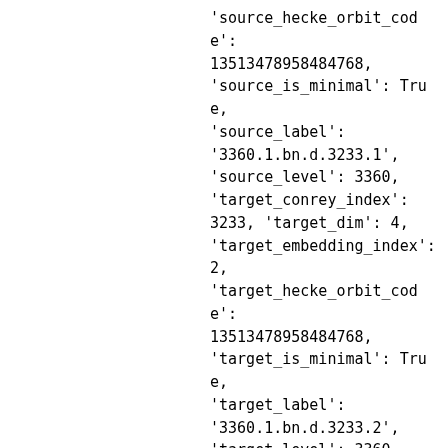'source_hecke_orbit_code': 13513478958484768,
'source_is_minimal': True,
'source_label':
'3360.1.bn.d.3233.1',
'source_level': 3360,
'target_conrey_index':
3233, 'target_dim': 4,
'target_embedding_index':
2,
'target_hecke_orbit_code': 13513478958484768,
'target_is_minimal': True,
'target_label':
'3360.1.bn.d.3233.2',
'target_level': 3360,
'twist_class_label':
'3360.1.bn.a.1217.1',
'twist_class_level': 3360,
'twisting_char_label':